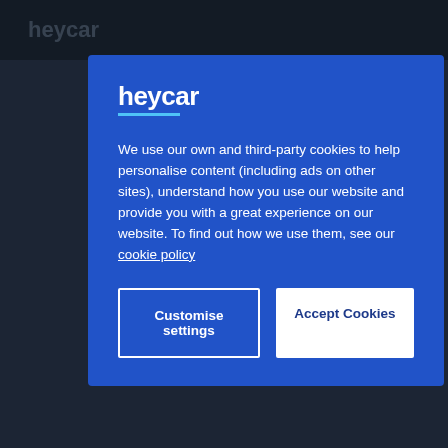heycar
[Figure (screenshot): heycar website background page partially visible behind cookie consent modal overlay]
heycar
We use our own and third-party cookies to help personalise content (including ads on other sites), understand how you use our website and provide you with a great experience on our website. To find out how we use them, see our cookie policy
Customise settings
Accept Cookies